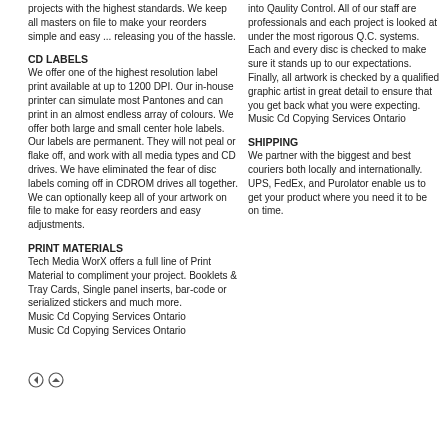projects with the highest standards. We keep all masters on file to make your reorders simple and easy ... releasing you of the hassle.
CD LABELS
We offer one of the highest resolution label print available at up to 1200 DPI. Our in-house printer can simulate most Pantones and can print in an almost endless array of colours. We offer both large and small center hole labels. Our labels are permanent. They will not peal or flake off, and work with all media types and CD drives. We have eliminated the fear of disc labels coming off in CDROM drives all together. We can optionally keep all of your artwork on file to make for easy reorders and easy adjustments.
PRINT MATERIALS
Tech Media WorX offers a full line of Print Material to compliment your project. Booklets & Tray Cards, Single panel inserts, bar-code or serialized stickers and much more.
Music Cd Copying Services Ontario
Music Cd Copying Services Ontario
into Qaulity Control. All of our staff are professionals and each project is looked at under the most rigorous Q.C. systems. Each and every disc is checked to make sure it stands up to our expectations. Finally, all artwork is checked by a qualified graphic artist in great detail to ensure that you get back what you were expecting.
Music Cd Copying Services Ontario
SHIPPING
We partner with the biggest and best couriers both locally and internationally. UPS, FedEx, and Purolator enable us to get your product where you need it to be on time.
[Figure (other): Navigation icons: back arrow and up arrow]